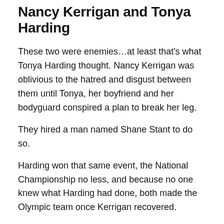Nancy Kerrigan and Tonya Harding
These two were enemies…at least that's what Tonya Harding thought. Nancy Kerrigan was oblivious to the hatred and disgust between them until Tonya, her boyfriend and her bodyguard conspired a plan to break her leg.
They hired a man named Shane Stant to do so.
Harding won that same event, the National Championship no less, and because no one knew what Harding had done, both made the Olympic team once Kerrigan recovered.
Tonya eventually admitted to being one of the administrators of the attack and was forced to withdraw from the Olympic team, until she threatened legal action.